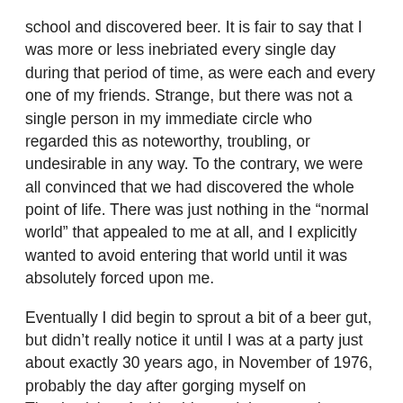school and discovered beer. It is fair to say that I was more or less inebriated every single day during that period of time, as were each and every one of my friends. Strange, but there was not a single person in my immediate circle who regarded this as noteworthy, troubling, or undesirable in any way. To the contrary, we were all convinced that we had discovered the whole point of life. There was just nothing in the “normal world” that appealed to me at all, and I explicitly wanted to avoid entering that world until it was absolutely forced upon me.
Eventually I did begin to sprout a bit of a beer gut, but didn’t really notice it until I was at a party just about exactly 30 years ago, in November of 1976, probably the day after gorging myself on Thanksgiving. A girl said -- and these words are burned in my memory -- “you have the biggest belly I’ve ever seen for such a small butt.”
That was it. I joined the Jack LaLanne gym on January 2, 1977. Interestingly, that was so long ago that the gym wasn’t even integrated. Rather, it was open for men on Monday, Wednesday, Friday, and Sunday, and for women on